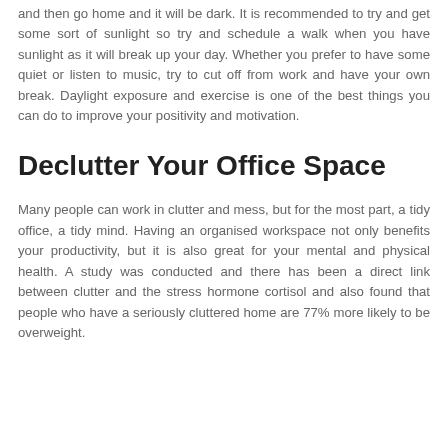and then go home and it will be dark. It is recommended to try and get some sort of sunlight so try and schedule a walk when you have sunlight as it will break up your day. Whether you prefer to have some quiet or listen to music, try to cut off from work and have your own break. Daylight exposure and exercise is one of the best things you can do to improve your positivity and motivation.
Declutter Your Office Space
Many people can work in clutter and mess, but for the most part, a tidy office, a tidy mind. Having an organised workspace not only benefits your productivity, but it is also great for your mental and physical health. A study was conducted and there has been a direct link between clutter and the stress hormone cortisol and also found that people who have a seriously cluttered home are 77% more likely to be overweight.